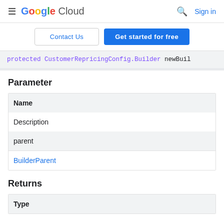Google Cloud  Sign in
Contact Us  Get started for free
protected CustomerRepricingConfig.Builder newBuil
Parameter
| Name | Description |
| --- | --- |
| parent | BuilderParent |
Returns
| Type |
| --- |